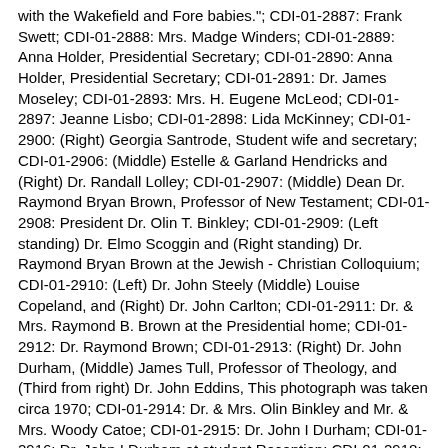with the Wakefield and Fore babies."; CDI-01-2887: Frank Swett; CDI-01-2888: Mrs. Madge Winders; CDI-01-2889: Anna Holder, Presidential Secretary; CDI-01-2890: Anna Holder, Presidential Secretary; CDI-01-2891: Dr. James Moseley; CDI-01-2893: Mrs. H. Eugene McLeod; CDI-01-2897: Jeanne Lisbo; CDI-01-2898: Lida McKinney; CDI-01-2900: (Right) Georgia Santrode, Student wife and secretary; CDI-01-2906: (Middle) Estelle & Garland Hendricks and (Right) Dr. Randall Lolley; CDI-01-2907: (Middle) Dean Dr. Raymond Bryan Brown, Professor of New Testament; CDI-01-2908: President Dr. Olin T. Binkley; CDI-01-2909: (Left standing) Dr. Elmo Scoggin and (Right standing) Dr. Raymond Bryan Brown at the Jewish - Christian Colloquium; CDI-01-2910: (Left) Dr. John Steely (Middle) Louise Copeland, and (Right) Dr. John Carlton; CDI-01-2911: Dr. & Mrs. Raymond B. Brown at the Presidential home; CDI-01-2912: Dr. Raymond Brown; CDI-01-2913: (Right) Dr. John Durham, (Middle) James Tull, Professor of Theology, and (Third from right) Dr. John Eddins, This photograph was taken circa 1970; CDI-01-2914: Dr. & Mrs. Olin Binkley and Mr. & Mrs. Woody Catoe; CDI-01-2915: Dr. John I Durham; CDI-01-2916: Dr. John I Durham at student Reception; CDI-01-2918: (Left) Dr. Olin T. Binkley, (Middle) Dr. Clifton Allen, and (Right) Dr. Raymond